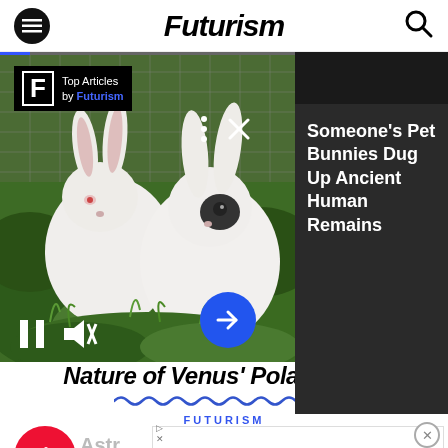Futurism
[Figure (screenshot): Futurism website video popup overlay showing white rabbits in a green garden, with 'Top Articles by Futurism' badge, video controls (pause, mute), blue arrow button, progress bar, and dark right panel with headline 'Someone's Pet Bunnies Dug Up Ancient Human Remains']
Nature of Venus' Polar Vortex
[Figure (other): Blue wavy zigzag decorative divider line]
FUTURISM
[Figure (logo): Red circular podcast button with white audio bars icon]
Astr
[Figure (screenshot): Advertisement overlay: Save Up to 65% Leesburg Premium Outlets, with circular logo icon and blue diamond map pin icon]